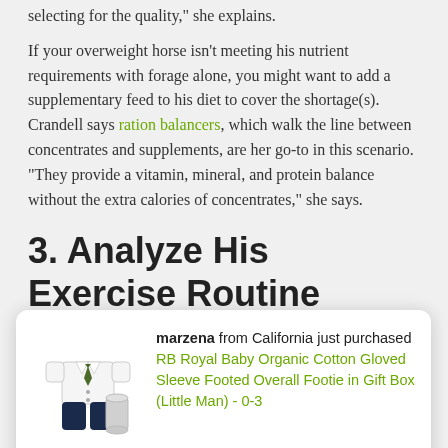selecting for the quality," she explains.
If your overweight horse isn't meeting his nutrient requirements with forage alone, you might want to add a supplementary feed to his diet to cover the shortage(s). Crandell says ration balancers, which walk the line between concentrates and supplements, are her go-to in this scenario. "They provide a vitamin, mineral, and protein balance without the extra calories of concentrates," she says.
3. Analyze His Exercise Routine
[Figure (other): Popup advertisement showing a baby outfit (white shirt with tie and dark pants/footed overall) and a can, with text: marzena from California just purchased RB Royal Baby Organic Cotton Gloved Sleeve Footed Overall Footie in Gift Box (Little Man) - 0-3 Month. Thanks marzena!]
such devices, the general rule of thumb is: The faster